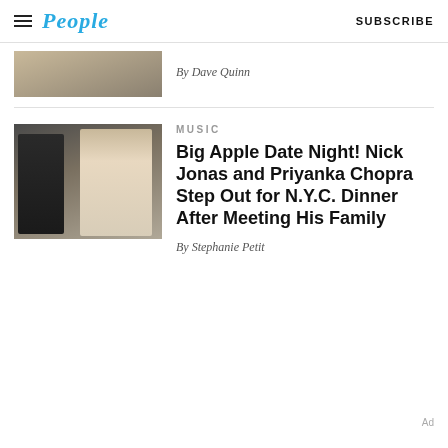People | SUBSCRIBE
[Figure (photo): Partial photo thumbnail, top portion visible]
By Dave Quinn
[Figure (photo): Nick Jonas and Priyanka Chopra stepping out for dinner in NYC]
MUSIC
Big Apple Date Night! Nick Jonas and Priyanka Chopra Step Out for N.Y.C. Dinner After Meeting His Family
By Stephanie Petit
Ad